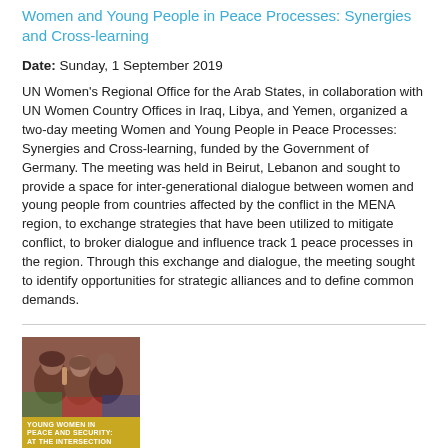Women and Young People in Peace Processes: Synergies and Cross-learning
Date: Sunday, 1 September 2019
UN Women's Regional Office for the Arab States, in collaboration with UN Women Country Offices in Iraq, Libya, and Yemen, organized a two-day meeting Women and Young People in Peace Processes: Synergies and Cross-learning, funded by the Government of Germany. The meeting was held in Beirut, Lebanon and sought to provide a space for inter-generational dialogue between women and young people from countries affected by the conflict in the MENA region, to exchange strategies that have been utilized to mitigate conflict, to broker dialogue and influence track 1 peace processes in the region. Through this exchange and dialogue, the meeting sought to identify opportunities for strategic alliances and to define common demands.
[Figure (photo): Book cover: Young Women in Peace and Security: At the Intersection of the YPS and WPS Agendas. Yellow cover with a photo of young women at top.]
Young women in peace and security: At the intersection of the YPS